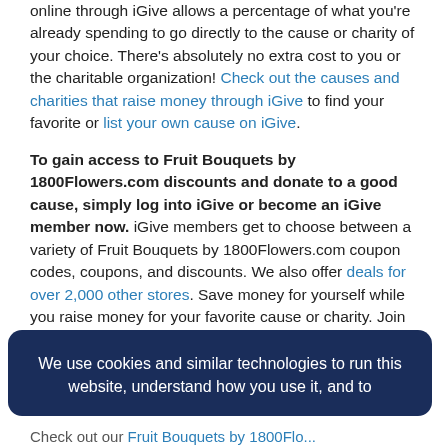online through iGive allows a percentage of what you're already spending to go directly to the cause or charity of your choice. There's absolutely no extra cost to you or the charitable organization! Check out the causes and charities that raise money through iGive to find your favorite or list your own cause on iGive.
To gain access to Fruit Bouquets by 1800Flowers.com discounts and donate to a good cause, simply log into iGive or become an iGive member now. iGive members get to choose between a variety of Fruit Bouquets by 1800Flowers.com coupon codes, coupons, and discounts. We also offer deals for over 2,000 other stores. Save money for yourself while you raise money for your favorite cause or charity. Join iGive to use a Fruit Bouquets by
We use cookies and similar technologies to run this website, understand how you use it, and to
Check out our Fruit Bouquets by 1800Flo...